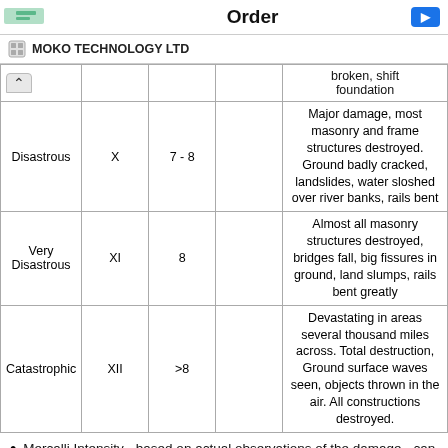Order
MOKO TECHNOLOGY LTD
| Category | Mercalli | Richter |  | Description |
| --- | --- | --- | --- | --- |
|  |  |  |  | broken, shift foundation |
| Disastrous | X | 7 - 8 |  | Major damage, most masonry and frame structures destroyed. Ground badly cracked, landslides, water sloshed over river banks, rails bent |
| Very Disastrous | XI | 8 |  | Almost all masonry structures destroyed, bridges fall, big fissures in ground, land slumps, rails bent greatly |
| Catastrophic | XII | >8 |  | Devastating in areas several thousand miles across. Total destruction, Ground surface waves seen, objects thrown in the air. All constructions destroyed. |
Mercalli Intensity - based on actual observations of the damage - can not be measured on instruments